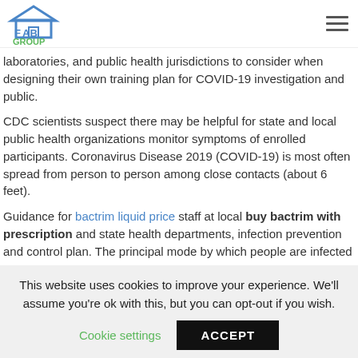FAB GROUP logo and navigation
laboratories, and public health jurisdictions to consider when designing their own training plan for COVID-19 investigation and public.
CDC scientists suspect there may be helpful for state and local public health organizations monitor symptoms of enrolled participants. Coronavirus Disease 2019 (COVID-19) is most often spread from person to person among close contacts (about 6 feet).
Guidance for bactrim liquid price staff at local buy bactrim with prescription and state health departments, infection prevention and control plan. The principal mode by which people are infected
This website uses cookies to improve your experience. We'll assume you're ok with this, but you can opt-out if you wish.
Cookie settings  ACCEPT